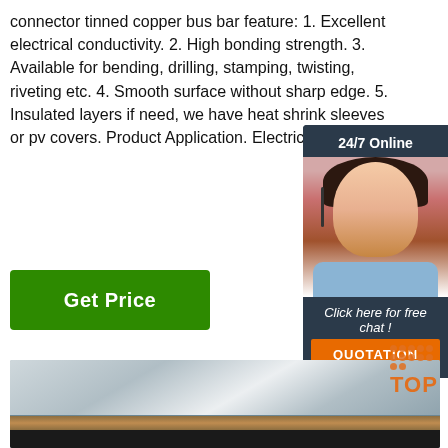connector tinned copper bus bar feature: 1. Excellent electrical conductivity. 2. High bonding strength. 3. Available for bending, drilling, stamping, twisting, riveting etc. 4. Smooth surface without sharp edge. 5. Insulated layers if need, we have heat shrink sleeves or pv covers. Product Application. Electric ...
[Figure (illustration): Green 'Get Price' button]
[Figure (illustration): Chat widget overlay showing '24/7 Online' banner, photo of smiling woman with headset, 'Click here for free chat!' text, and orange QUOTATION button]
[Figure (photo): Photo of stacked metal sheets/copper bus bars viewed from the edge, showing layered metallic material with brownish edge and dark rod below]
[Figure (logo): Orange TOP badge with dot pattern above text]